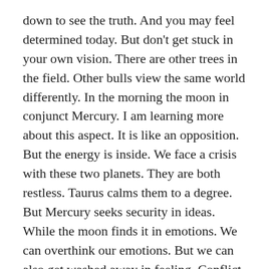down to see the truth. And you may feel determined today. But don't get stuck in your own vision. There are other trees in the field. Other bulls view the same world differently. In the morning the moon in conjunct Mercury. I am learning more about this aspect. It is like an opposition. But the energy is inside. We face a crisis with these two planets. They are both restless. Taurus calms them to a degree. But Mercury seeks security in ideas. While the moon finds it in emotions. We can overthink our emotions. But we can also get washed away in feeling. Conflict may be the end result in each case. If a different view is seen as a threat. If you find the value of feelings and ideas you are on the right path. In the afternoon we have a sextile with Neptune. This deep planet is in Pisces. Like Taurus it sees a deeper truth. Today we may be seeking a meaning. A deep value to life. If we listen to others and share with an open heart we will be rewarded. But insisting on our own views will cause problems. You may feel creative today. Listen to your heart. It will be sensitive if you are open. But some may feel this as a sign of weakness. At last the